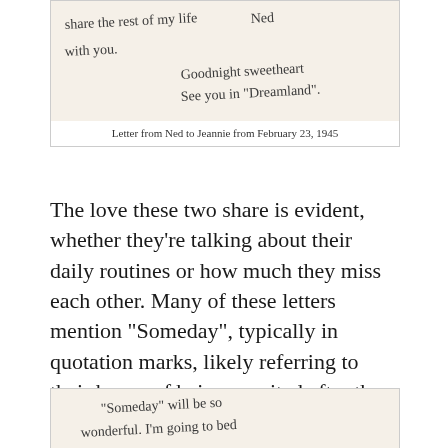[Figure (photo): Handwritten letter from Ned to Jeannie, showing cursive text including 'share the rest of my life with you.' and 'Goodnight sweetheart see you in Dreamland.' signed 'Ned']
Letter from Ned to Jeannie from February 23, 1945
The love these two share is evident, whether they’re talking about their daily routines or how much they miss each other. Many of these letters mention “Someday”, typically in quotation marks, likely referring to their hopes of being reunited after the war. Jeannie mentions “Someday” twice in the conclusion of a letter she sent to Ned on March 2nd, 1945:
[Figure (photo): Handwritten letter from Jeannie showing cursive text beginning with '“Someday” will be so wonderful. I’m going to bed...']